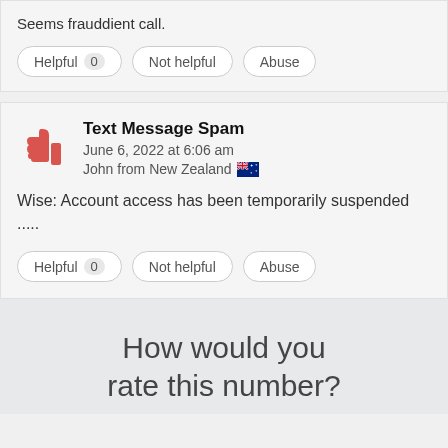Seems frauddient call.
Helpful 0 | Not helpful | Abuse
Text Message Spam
June 6, 2022 at 6:06 am
John from New Zealand
Wise: Account access has been temporarily suspended .....
Helpful 0 | Not helpful | Abuse
How would you rate this number?